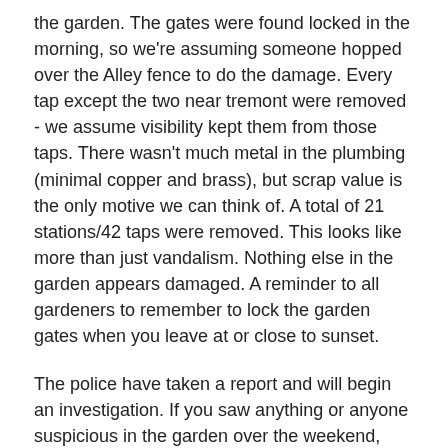the garden. The gates were found locked in the morning, so we're assuming someone hopped over the Alley fence to do the damage. Every tap except the two near tremont were removed - we assume visibility kept them from those taps. There wasn't much metal in the plumbing (minimal copper and brass), but scrap value is the only motive we can think of. A total of 21 stations/42 taps were removed. This looks like more than just vandalism. Nothing else in the garden appears damaged. A reminder to all gardeners to remember to lock the garden gates when you leave at or close to sunset.
The police have taken a report and will begin an investigation. If you saw anything or anyone suspicious in the garden over the weekend, please contact the police. We're hoping BNAN insurance will cover the repairs.
We'll keep the community updated on the status of things as we know.